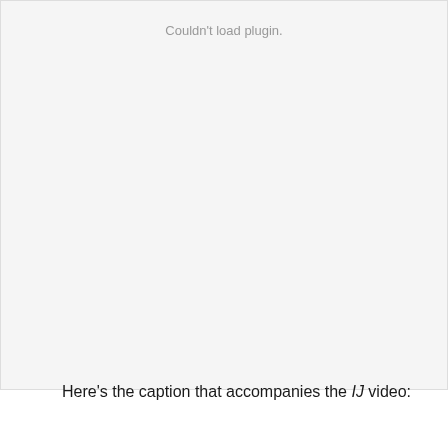[Figure (other): Video plugin placeholder area showing 'Couldn't load plugin.' message]
Here's the caption that accompanies the IJ video:
Washingtonians from both sides of the political spectrum filed a lawsuit today to stop their state from monitoring, collecting and publicly disseminating information about the political activities of private citizens who do nothing more than urge their fellow citizens to take political action. They seek to vindicate the belief that if the First Amendment protects anything, it